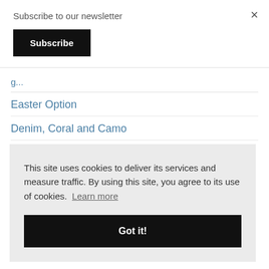Subscribe to our newsletter
Subscribe
×
Easter Option
Denim, Coral and Camo
Random Thoughts On Tuesday
This site uses cookies to deliver its services and measure traffic. By using this site, you agree to its use of cookies. Learn more
Got it!